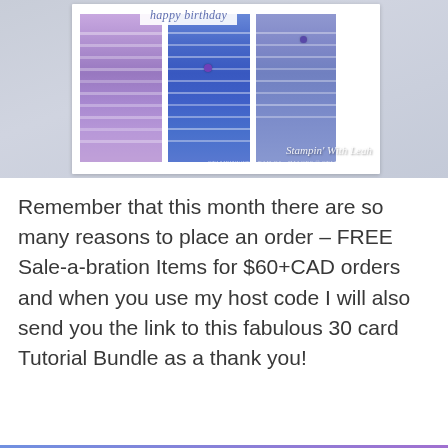[Figure (photo): Photo of a handmade birthday card with purple and blue watercolor striped panels, 'happy birthday' text in cursive, decorative elements, and 'Stampin' With Leah' watermark]
Remember that this month there are so many reasons to place an order – FREE Sale-a-bration Items for $60+CAD orders and when you use my host code I will also send you the link to this fabulous 30 card Tutorial Bundle as a thank you!